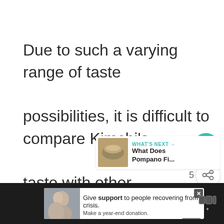Due to such a varying range of taste possibilities, it is difficult to compare Kimchi's taste with other conventional food products 5
[Figure (screenshot): Teal circular heart/like button icon]
[Figure (screenshot): Share button with count 5]
[Figure (screenshot): What's Next card: photo of Pompano fish, label WHAT'S NEXT, title What Does Pompano Fi...]
[Figure (screenshot): Bottom dark advertisement bar with photo of two people, ad text Give support to people recovering from crisis. Make a year-end donation.]
[Figure (logo): Weather/app icon top right of bottom bar]